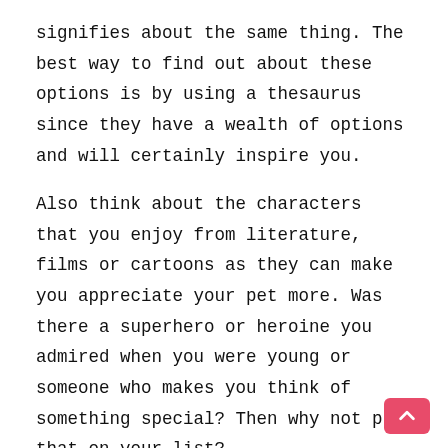signifies about the same thing. The best way to find out about these options is by using a thesaurus since they have a wealth of options and will certainly inspire you.
Also think about the characters that you enjoy from literature, films or cartoons as they can make you appreciate your pet more. Was there a superhero or heroine you admired when you were young or someone who makes you think of something special? Then why not put that on your list?
One other thing to consider is the fact that most of us have special places or memories from the unique